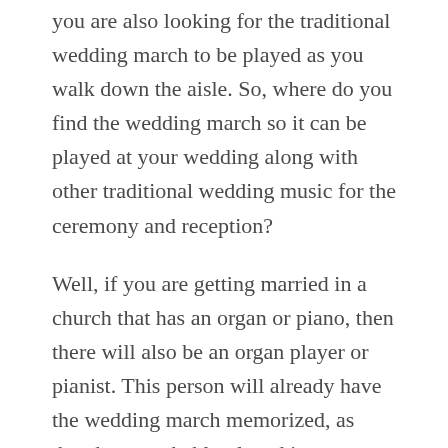you are also looking for the traditional wedding march to be played as you walk down the aisle. So, where do you find the wedding march so it can be played at your wedding along with other traditional wedding music for the ceremony and reception?
Well, if you are getting married in a church that has an organ or piano, then there will also be an organ player or pianist. This person will already have the wedding march memorized, as they have probably played it a thousand times already. You can check with the minister, preacher, clergy member, or priest to see if their pianist can play it for you in the wedding and how much they will charge you to have it played.
If they don't have an organ player or pianist, chances are that they have the wedding march on tape or CD and will be happy to play it for you as you walk down